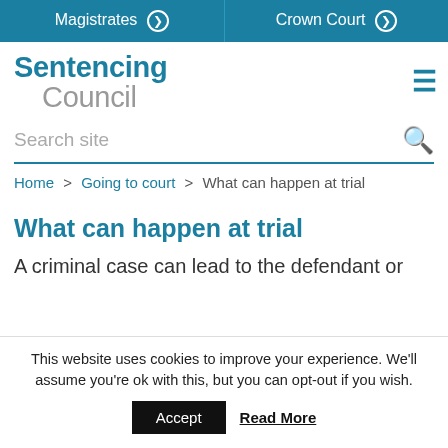Magistrates  Crown Court
Sentencing Council
Search site
Home > Going to court > What can happen at trial
What can happen at trial
A criminal case can lead to the defendant or
This website uses cookies to improve your experience. We'll assume you're ok with this, but you can opt-out if you wish.